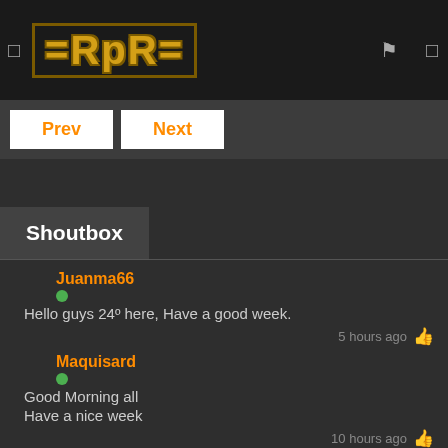=RpR= logo navigation bar with Prev and Next buttons
Shoutbox
Juanma66
Hello guys 24º here, Have a good week.
5 hours ago
Maquisard
Good Morning all
Have a nice week
10 hours ago
snowman